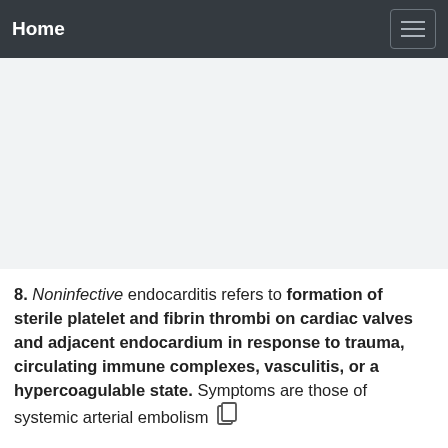Home
8. Noninfective endocarditis refers to formation of sterile platelet and fibrin thrombi on cardiac valves and adjacent endocardium in response to trauma, circulating immune complexes, vasculitis, or a hypercoagulable state. Symptoms are those of systemic arterial embolism